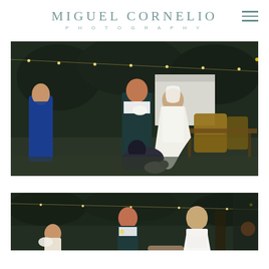MIGUEL CORNELIO PHOTOGRAPHY
[Figure (photo): Wedding reception outdoor scene at night: bride in white mermaid gown and groom in dark teal suit stand together while a guest kneels to help with something near their feet (possibly a dog); a woman in a blue gown watches in the background; wicker chairs and string lights visible]
[Figure (photo): Partial wedding reception photo showing a small child, groom in dark teal suit with boutonniere, and bride in white lace dress, outdoor setting with string lights and trees]